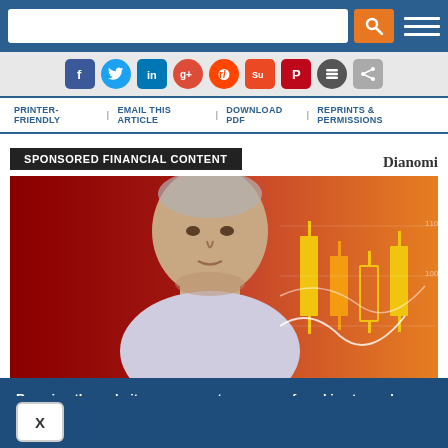[Figure (screenshot): Website top navigation bar with search input and orange search button and hamburger menu on blue background]
[Figure (screenshot): Social sharing icons row: Facebook, Twitter, LinkedIn, Google+, Reddit, StumbleUpon, Pinterest, Buffer, ShareThis]
PRINTER-FRIENDLY  EMAIL THIS ARTICLE  DOWNLOAD PDF  REPRINTS & PERMISSIONS
SPONSORED FINANCIAL CONTENT
Dianomi
[Figure (photo): Older man in white shirt looking serious, with financial chart graphic (candlestick chart on red/orange background) behind him]
By using the website, you agree to our use of cookies to analyze website traffic and improve your experience on our website. Learn more.
X